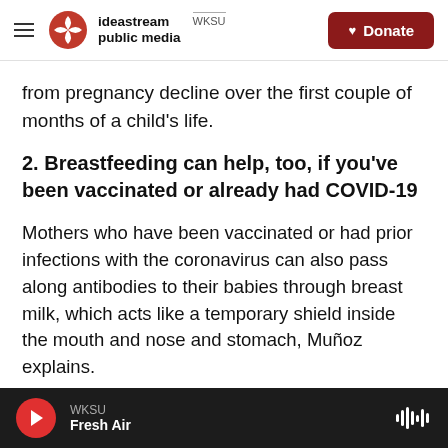ideastream public media | WKSU | Donate
from pregnancy decline over the first couple of months of a child's life.
2. Breastfeeding can help, too, if you've been vaccinated or already had COVID-19
Mothers who have been vaccinated or had prior infections with the coronavirus can also pass along antibodies to their babies through breast milk, which acts like a temporary shield inside the mouth and nose and stomach, Muñoz explains.
"It's mostly a surface coating, if you will," she says.
WKSU | Fresh Air